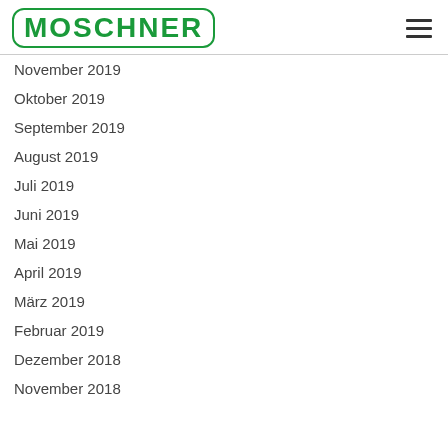MOSCHNER
November 2019
Oktober 2019
September 2019
August 2019
Juli 2019
Juni 2019
Mai 2019
April 2019
März 2019
Februar 2019
Dezember 2018
November 2018